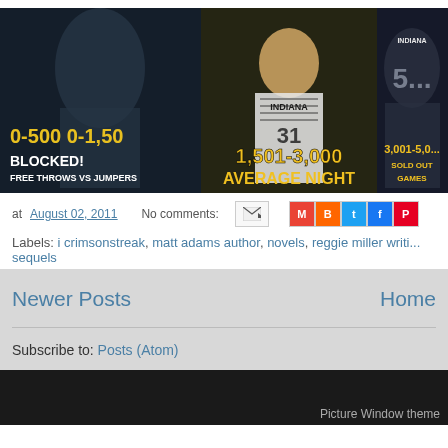[Figure (photo): Blog post header image showing Indiana Pacers basketball player #31 in the center wearing white Indiana jersey, flanked by darker action shots. Text overlays include '1,501-3,000', 'AVERAGE NIGHT', 'BLOCKED!', 'FREE THROWS VS JUMPERS', 'SOLD OUT GAMES' in yellow/white fonts on dark backgrounds.]
at August 02, 2011   No comments:
Labels: i crimsonstreak, matt adams author, novels, reggie miller writi... sequels
Newer Posts
Home
Subscribe to: Posts (Atom)
Picture Window theme